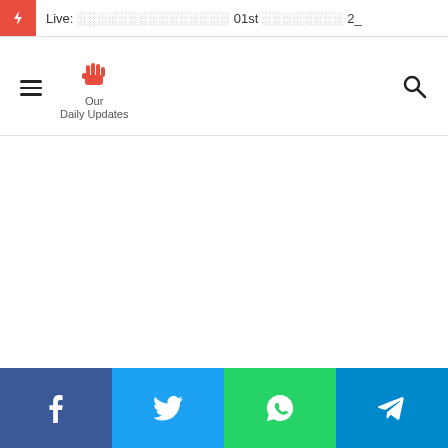Live: ░░░░░░░░░░░░░░░ 01st ░░░░░░░░ 2_
[Figure (logo): Our Daily Updates logo with raised fist icon in red and text 'Our Daily Updates']
[Figure (other): Social media share buttons: Facebook (blue), Twitter (light blue), WhatsApp (green), Telegram (dark blue)]